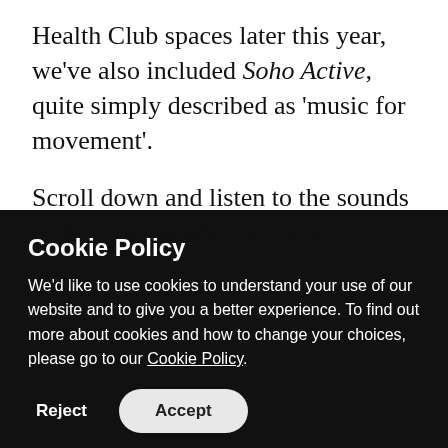Health Club spaces later this year, we've also included Soho Active, quite simply described as 'music for movement'.
Scroll down and listen to the sounds of the Houses wherever you are.
Cookie Policy
We'd like to use cookies to understand your use of our website and to give you a better experience. To find out more about cookies and how to change your choices, please go to our Cookie Policy.